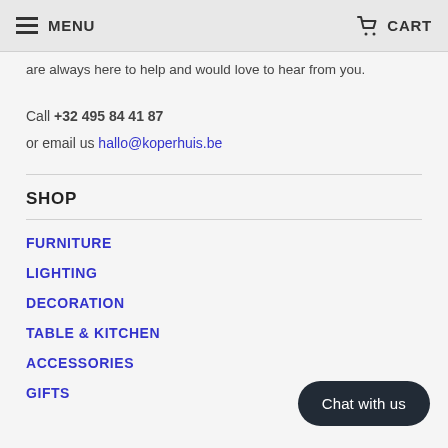MENU  CART
are always here to help and would love to hear from you.
Call +32 495 84 41 87
or email us hallo@koperhuis.be
SHOP
FURNITURE
LIGHTING
DECORATION
TABLE & KITCHEN
ACCESSORIES
GIFTS
Chat with us